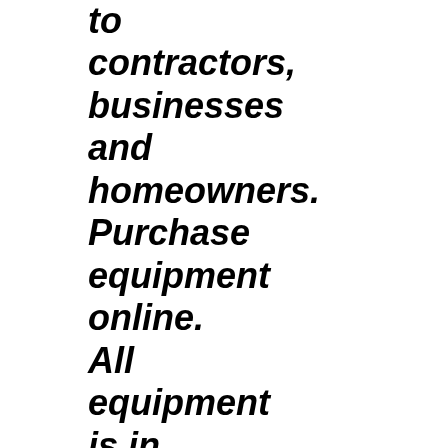to contractors, businesses and homeowners. Purchase equipment online. All equipment is in stock and ready for delivery. Complete packages for open, horizontal and vertical loop systems.